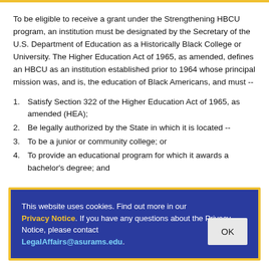To be eligible to receive a grant under the Strengthening HBCU program, an institution must be designated by the Secretary of the U.S. Department of Education as a Historically Black College or University. The Higher Education Act of 1965, as amended, defines an HBCU as an institution established prior to 1964 whose principal mission was, and is, the education of Black Americans, and must --
1. Satisfy Section 322 of the Higher Education Act of 1965, as amended (HEA);
2. Be legally authorized by the State in which it is located --
3. To be a junior or community college; or
4. To provide an educational program for which it awards a bachelor's degree; and
Cookie banner: This website uses cookies. Find out more in our Privacy Notice. If you have any questions about the Privacy Notice, please contact LegalAffairs@asurams.edu.